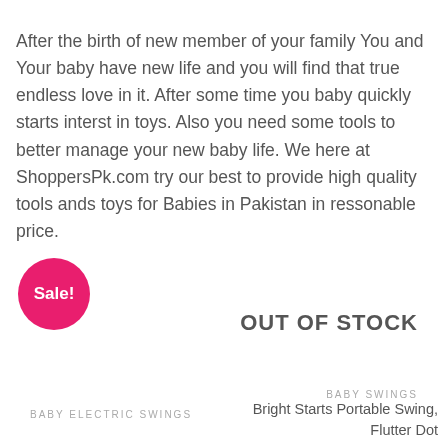After the birth of new member of your family You and Your baby have new life and you will find that true endless love in it. After some time you baby quickly starts interst in toys. Also you need some tools to better manage your new baby life. We here at ShoppersPk.com try our best to provide high quality tools ands toys for Babies in Pakistan in ressonable price.
[Figure (infographic): Pink circular sale badge with white bold text 'Sale!']
OUT OF STOCK
BABY ELECTRIC SWINGS
BABY SWINGS
Bright Starts Portable Swing, Flutter Dot